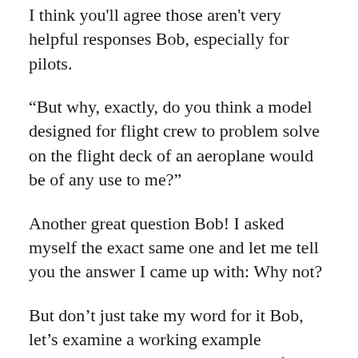I think you'll agree those aren't very helpful responses Bob, especially for pilots.
“But why, exactly, do you think a model designed for flight crew to problem solve on the flight deck of an aeroplane would be of any use to me?”
Another great question Bob! I asked myself the exact same one and let me tell you the answer I came up with: Why not?
But don’t just take my word for it Bob, let’s examine a working example completely unrelated to the realm of aviation. Let’s